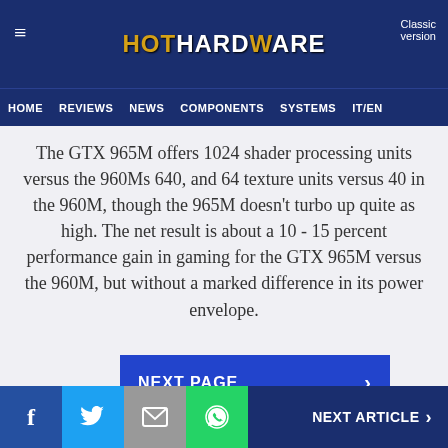HotHardware — Classic version | HOME | REVIEWS | NEWS | COMPONENTS | SYSTEMS | IT/EN
The GTX 965M offers 1024 shader processing units versus the 960Ms 640, and 64 texture units versus 40 in the 960M, though the 965M doesn't turbo up quite as high. The net result is about a 10 - 15 percent performance gain in gaming for the GTX 965M versus the 960M, but without a marked difference in its power envelope.
ARTICLE INDEX
NEXT ARTICLE >